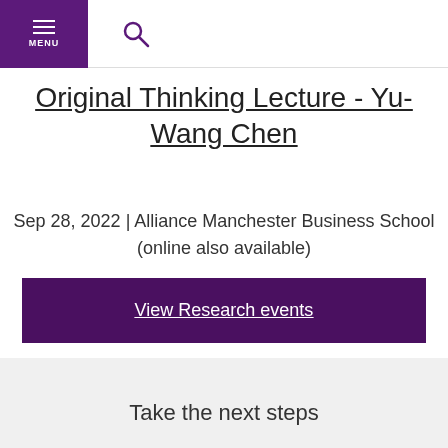MENU
Original Thinking Lecture - Yu-Wang Chen
Sep 28, 2022 | Alliance Manchester Business School (online also available)
View Research events
Take the next steps